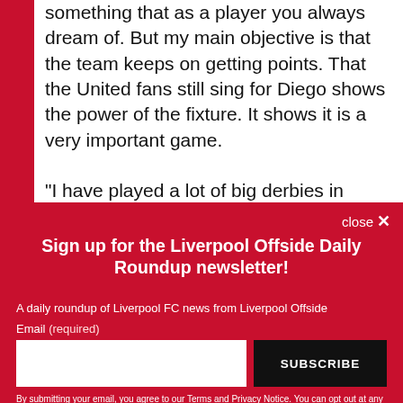something that as a player you always dream of. But my main objective is that the team keeps on getting points. That the United fans still sing for Diego shows the power of the fixture. It shows it is a very important game.

"I have played a lot of big derbies in Holland, Uruguay and for the national team against
Sign up for the Liverpool Offside Daily Roundup newsletter!
A daily roundup of Liverpool FC news from Liverpool Offside
Email (required)
SUBSCRIBE
By submitting your email, you agree to our Terms and Privacy Notice. You can opt out at any time. This site is protected by reCAPTCHA and the Google Privacy Policy and Terms of Service apply.